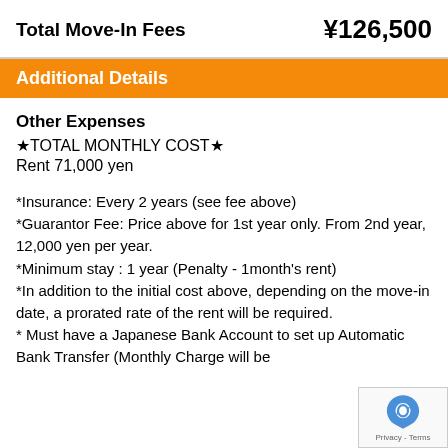Total Move-In Fees
¥126,500
Additional Details
Other Expenses
★TOTAL MONTHLY COST★
Rent 71,000 yen
*Insurance: Every 2 years (see fee above)
*Guarantor Fee: Price above for 1st year only. From 2nd year, 12,000 yen per year.
*Minimum stay : 1 year (Penalty - 1month's rent)
*In addition to the initial cost above, depending on the move-in date, a prorated rate of the rent will be required.
* Must have a Japanese Bank Account to set up Automatic Bank Transfer (Monthly Charge will be charged to the tenant at 330 yen/mo)